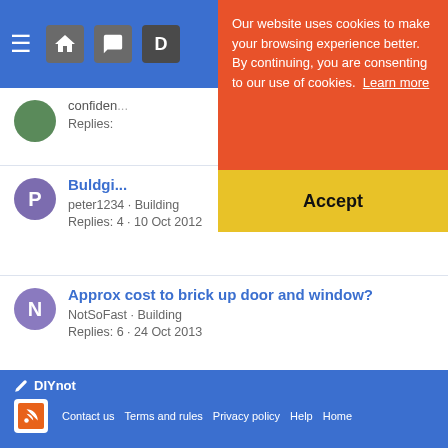DIYnot header navigation bar
[Figure (screenshot): Cookie consent banner with orange top section reading 'Our website uses cookies to make your browsing experience better. By continuing, you are consenting to our use of cookies. Learn more' and yellow Accept button]
confiden...
Replies:
Buldgi...
peter1234 · Building
Replies: 4 · 10 Oct 2012
Approx cost to brick up door and window?
NotSoFast · Building
Replies: 6 · 24 Oct 2013
Share:
< Building
DIYnot  Contact us  Terms and rules  Privacy policy  Help  Home